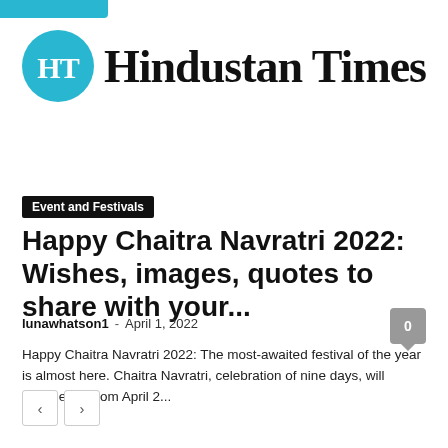[Figure (logo): Hindustan Times logo with teal HT circle icon and blackletter wordmark]
Event and Festivals
Happy Chaitra Navratri 2022: Wishes, images, quotes to share with your...
lunawhatson1 - April 1, 2022
Happy Chaitra Navratri 2022: The most-awaited festival of the year is almost here. Chaitra Navratri, celebration of nine days, will commence from April 2...